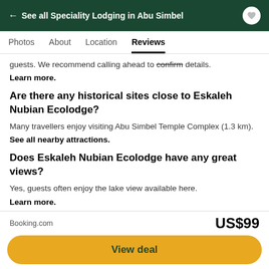← See all Speciality Lodging in Abu Simbel
Photos   About   Location   Reviews
guests. We recommend calling ahead to confirm details.
Learn more.
Are there any historical sites close to Eskaleh Nubian Ecolodge?
Many travellers enjoy visiting Abu Simbel Temple Complex (1.3 km).
See all nearby attractions.
Does Eskaleh Nubian Ecolodge have any great views?
Yes, guests often enjoy the lake view available here.
Learn more.
Booking.com   US$99   View deal